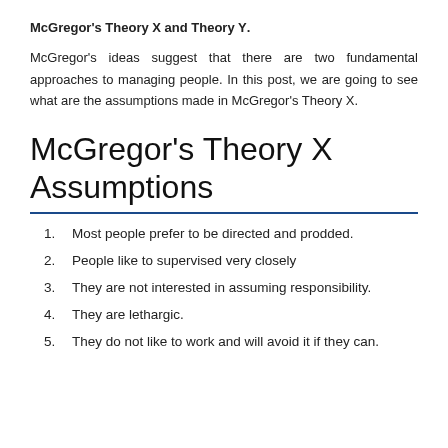McGregor's Theory X and Theory Y.
McGregor's ideas suggest that there are two fundamental approaches to managing people. In this post, we are going to see what are the assumptions made in McGregor's Theory X.
McGregor's Theory X Assumptions
Most people prefer to be directed and prodded.
People like to supervised very closely
They are not interested in assuming responsibility.
They are lethargic.
They do not like to work and will avoid it if they can.